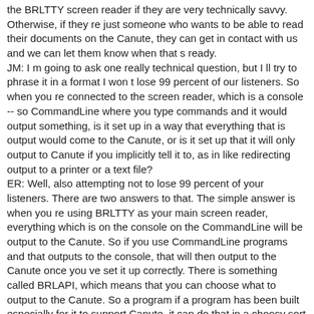the BRLTTY screen reader if they are very technically savvy. Otherwise, if they re just someone who wants to be able to read their documents on the Canute, they can get in contact with us and we can let them know when that s ready. JM: I m going to ask one really technical question, but I ll try to phrase it in a format I won t lose 99 percent of our listeners. So when you re connected to the screen reader, which is a console -- so CommandLine where you type commands and it would output something, is it set up in a way that everything that is output would come to the Canute, or is it set up that it will only output to Canute if you implicitly tell it to, as in like redirecting output to a printer or a text file? ER: Well, also attempting not to lose 99 percent of your listeners. There are two answers to that. The simple answer is when you re using BRLTTY as your main screen reader, everything which is on the console on the CommandLine will be output to the Canute. So if you use CommandLine programs and that outputs to the console, that will then output to the Canute once you ve set it up correctly. There is something called BRLAPI, which means that you can choose what to output to the Canute. So a program if a program has been built especially for it to support Canute, it can do that in a choosy sort of way, which brings us onto using Duxbury with the Canute, which is something that they ve been developing. And it s very exciting, the idea that you can plug a Canute in